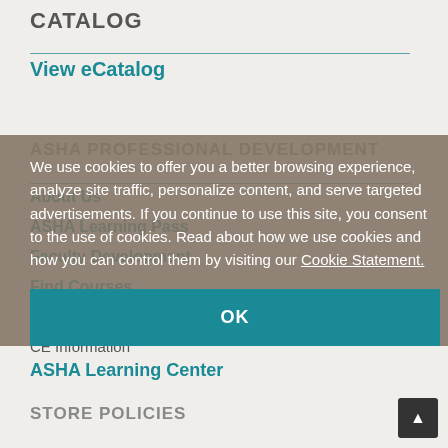CATALOG
View eCatalog
ASHA PROFESSIONAL DEVELOPMENT
About Us
ASHA Learning Pass
Faculty Development
Find Courses
Requests for Accommodation
CE Information
ASHA Learning Center
STORE POLICIES
We use cookies to offer you a better browsing experience, analyze site traffic, personalize content, and serve targeted advertisements. If you continue to use this site, you consent to the use of cookies. Read about how we use cookies and how you can control them by visiting our Cookie Statement.